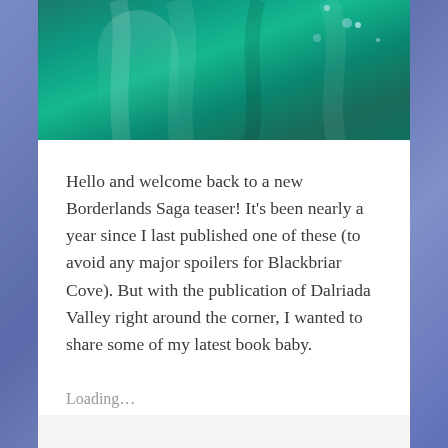[Figure (photo): Decorative teal/green draped fabric background image strip at the top of the card]
Hello and welcome back to a new Borderlands Saga teaser! It’s been nearly a year since I last published one of these (to avoid any major spoilers for Blackbriar Cove). But with the publication of Dalriada Valley right around the corner, I wanted to share some of my latest book baby.
Loading…
August 23, 2022   0